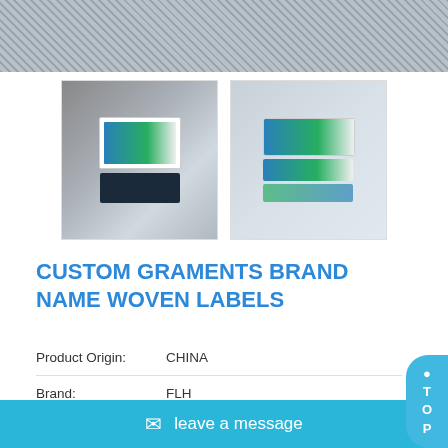[Figure (photo): Top portion of woven fabric texture in grey/silver tones]
[Figure (photo): Two thumbnail images of custom woven labels - one showing label on dark background, one showing labels on light grey background]
CUSTOM GRAMENTS BRAND NAME WOVEN LABELS
| Product Origin: | CHINA |
| Brand: | FLH |
| Item No.: | FLH-WL033 |
| Shipping Port: | XIAMEN |
| Color: | CUSTOMIZED |
| Lead Time: | 7-25 DAYS |
leave a message